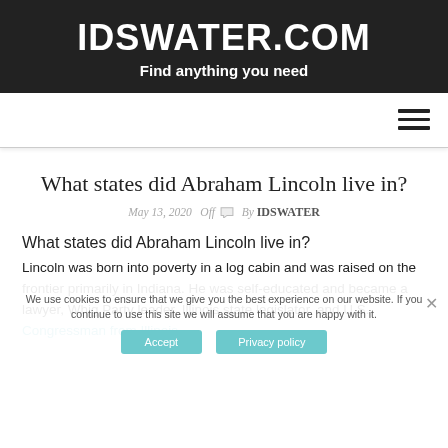IDSWATER.COM
Find anything you need
What states did Abraham Lincoln live in?
May 13, 2020  Off  By IDSWATER
What states did Abraham Lincoln live in?
Lincoln was born into poverty in a log cabin and was raised on the frontier primarily in Indiana. He was self-educated and became a lawyer, Whig Party leader, Illinois state legislator, and U.S. Congressman from Illinois.
We use cookies to ensure that we give you the best experience on our website. If you continue to use this site we will assume that you are happy with it.
Where did Abraham Lincoln live before he was President?